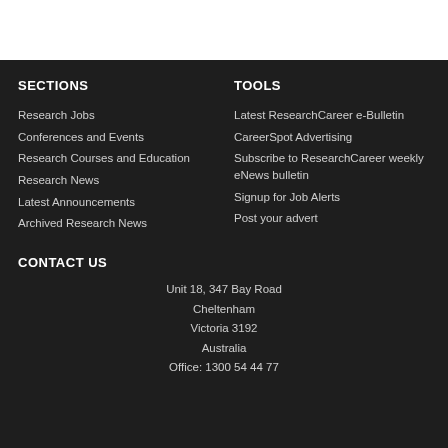SECTIONS
Research Jobs
Conferences and Events
Research Courses and Education
Research News
Latest Announcements
Archived Research News
TOOLS
Latest ResearchCareer e-Bulletin
CareerSpot Advertising
Subscribe to ResearchCareer weekly eNews bulletin
Signup for Job Alerts
Post your advert
CONTACT US
Unit 18, 347 Bay Road
Cheltenham
Victoria 3192
Australia
Office: 1300 54 44 77